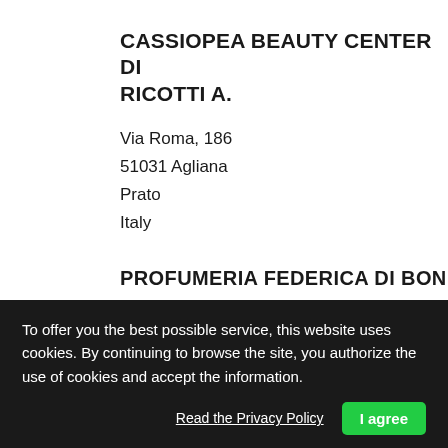CASSIOPEA BEAUTY CENTER DI RICOTTI A.
Via Roma, 186
51031 Agliana
Prato
Italy
About and Contact  >
PROFUMERIA FEDERICA DI BONFANTI
To offer you the best possible service, this website uses cookies. By continuing to browse the site, you authorize the use of cookies and accept the information.
Read the Privacy Policy
I agree